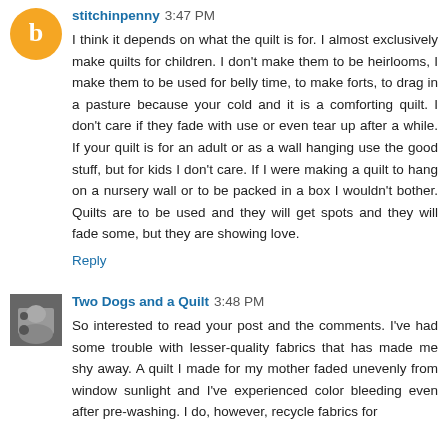stitchinpenny 3:47 PM
I think it depends on what the quilt is for. I almost exclusively make quilts for children. I don't make them to be heirlooms, I make them to be used for belly time, to make forts, to drag in a pasture because your cold and it is a comforting quilt. I don't care if they fade with use or even tear up after a while. If your quilt is for an adult or as a wall hanging use the good stuff, but for kids I don't care. If I were making a quilt to hang on a nursery wall or to be packed in a box I wouldn't bother. Quilts are to be used and they will get spots and they will fade some, but they are showing love.
Reply
Two Dogs and a Quilt 3:48 PM
So interested to read your post and the comments. I've had some trouble with lesser-quality fabrics that has made me shy away. A quilt I made for my mother faded unevenly from window sunlight and I've experienced color bleeding even after pre-washing. I do, however, recycle fabrics for